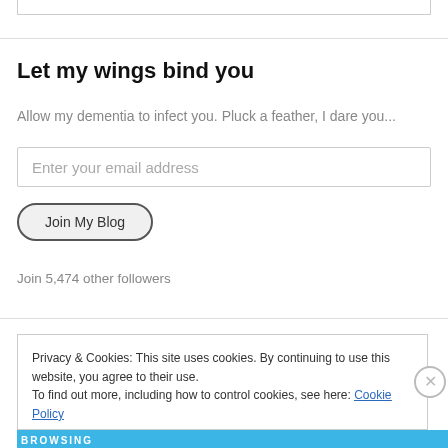Let my wings bind you
Allow my dementia to infect you. Pluck a feather, I dare you...
Enter your email address
Join My Blog
Join 5,474 other followers
Privacy & Cookies: This site uses cookies. By continuing to use this website, you agree to their use.
To find out more, including how to control cookies, see here: Cookie Policy
Close and accept